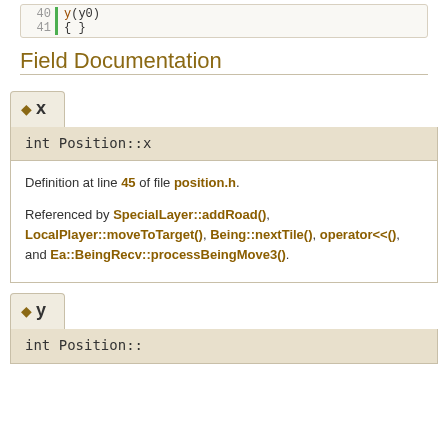[Figure (screenshot): Code block showing lines 40-41 with green bar marker. Line 40: y(y0), Line 41: { }]
Field Documentation
◆ x
int Position::x
Definition at line 45 of file position.h.

Referenced by SpecialLayer::addRoad(), LocalPlayer::moveToTarget(), Being::nextTile(), operator<<(), and Ea::BeingRecv::processBeingMove3().
◆ y